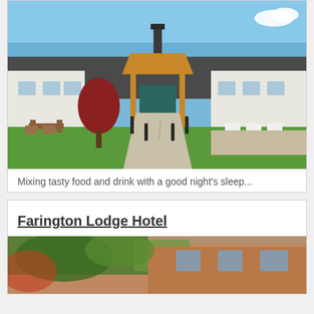[Figure (photo): Exterior photo of a country lodge hotel with wooden portico entrance, stone paved path, green lawn, outdoor seating areas on both sides, under a blue sky]
Mixing tasty food and drink with a good night's sleep...
Farington Lodge Hotel
[Figure (photo): Partial exterior photo of Farington Lodge Hotel showing brick and ivy-covered facade]